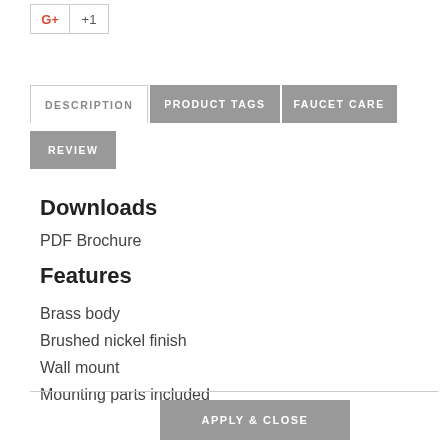[Figure (screenshot): Google +1 social share button with count showing +1]
DESCRIPTION | PRODUCT TAGS | FAUCET CARE
REVIEW
Downloads
PDF Brochure
Features
Brass body
Brushed nickel finish
Wall mount
Mounting parts included
APPLY & CLOSE